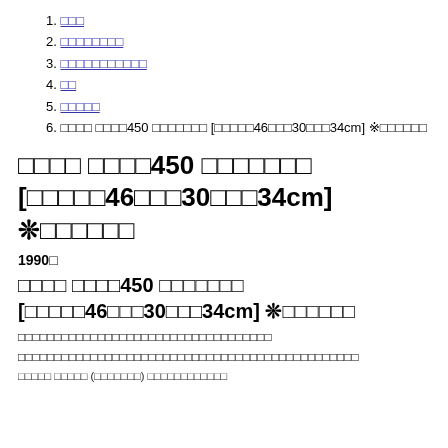1. □□□
2. □□□□□□□□
3. □□□□□□□□□□□
4. □□
5. □□□□□
6. □□□□ □□□□450 □□□□□□□ [□□□□□46□□□30□□□34cm] ※□□□□□□
□□□□ □□□□450 □□□□□□□ [□□□□□46□□□30□□□34cm] ❊□□□□□□
1990□
□□□□ □□□□450 □□□□□□□ [□□□□□46□□□30□□□34cm] ❊□□□□□□
□□□□□□□□□□□□□□□□□□□□□□□□□□□□□□□□□□
□□□□□□□□□□□□□□□□□□□□□□□□□□□□□□□□□□□□□□□□□□□□□□□
□□□□□ □□□□□ (□□□□□□□) □□□□□□□□□□□□